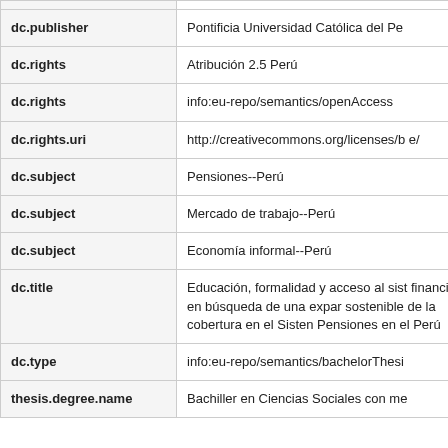| Field | Value |
| --- | --- |
| dc.publisher | Pontificia Universidad Católica del Pe |
| dc.rights | Atribución 2.5 Perú |
| dc.rights | info:eu-repo/semantics/openAccess |
| dc.rights.uri | http://creativecommons.org/licenses/b e/ |
| dc.subject | Pensiones--Perú |
| dc.subject | Mercado de trabajo--Perú |
| dc.subject | Economía informal--Perú |
| dc.title | Educación, formalidad y acceso al sist financiero: en búsqueda de una expar sostenible de la cobertura en el Sisten Pensiones en el Perú |
| dc.type | info:eu-repo/semantics/bachelorThesi |
| thesis.degree.name | Bachiller en Ciencias Sociales con me |